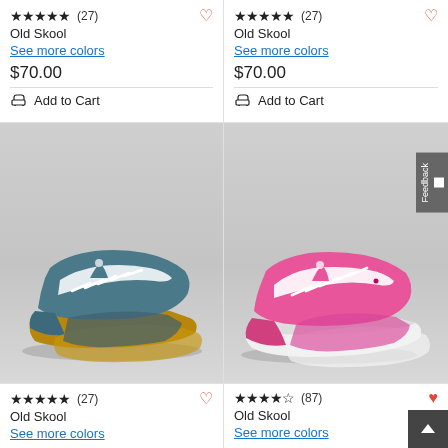★★★★★ (27) Old Skool See more colors $70.00 Add to Cart
★★★★★ (27) Old Skool See more colors $70.00 Add to Cart
[Figure (photo): Blue/grey Vans Old Skool sneaker with gum sole, white laces, white stripe on grey background]
[Figure (photo): Pink Vans Old Skool sneaker with white sole and white stripe on grey background]
★★★★★ (27) Old Skool See more colors
★★★★½ (87) Old Skool See more colors